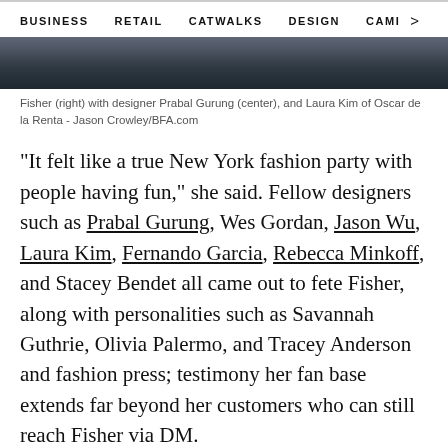BUSINESS   RETAIL   CATWALKS   DESIGN   CAMI   >
[Figure (photo): Photo strip showing people at a fashion event, cropped at top of page]
Fisher (right) with designer Prabal Gurung (center), and Laura Kim of Oscar de la Renta - Jason Crowley/BFA.com
"It felt like a true New York fashion party with people having fun," she said. Fellow designers such as Prabal Gurung, Wes Gordan, Jason Wu, Laura Kim, Fernando Garcia, Rebecca Minkoff, and Stacey Bendet all came out to fete Fisher, along with personalities such as Savannah Guthrie, Olivia Palermo, and Tracey Anderson and fashion press; testimony her fan base extends far beyond her customers who can still reach Fisher via DM.
For the first time since launching, though, the designer